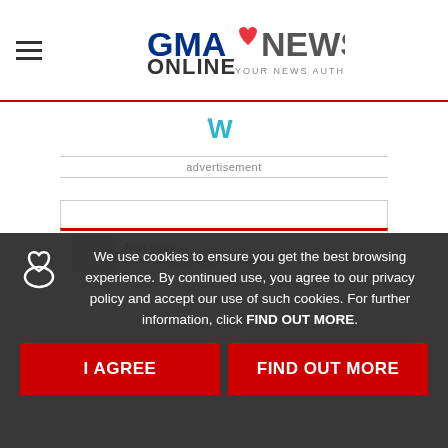[Figure (logo): GMA News Online logo with tagline 'Your News Authority']
[Figure (logo): Weather widget icon (teal W symbol)]
advertisement
Money
Next Story
Pro-China protesters to rally
We use cookies to ensure you get the best browsing experience. By continued use, you agree to our privacy policy and accept our use of such cookies. For further information, click FIND OUT MORE.
I AGREE
FIND OUT MORE